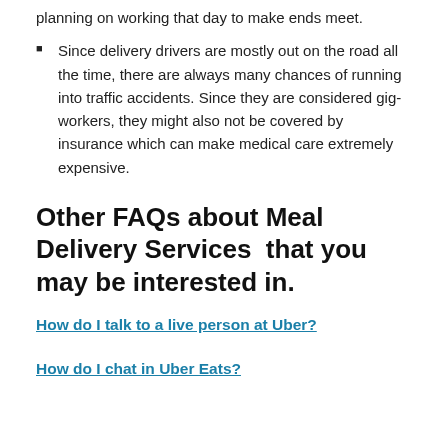planning on working that day to make ends meet.
Since delivery drivers are mostly out on the road all the time, there are always many chances of running into traffic accidents. Since they are considered gig-workers, they might also not be covered by insurance which can make medical care extremely expensive.
Other FAQs about Meal Delivery Services  that you may be interested in.
How do I talk to a live person at Uber?
How do I chat in Uber Eats?